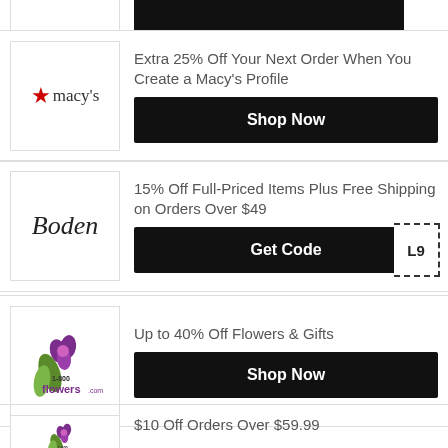[Figure (other): Partial coupon row at top of page - black button with dashed border code reveal]
Extra 25% Off Your Next Order When You Create a Macy's Profile
[Figure (logo): Macy's logo with red star]
Shop Now
15% Off Full-Priced Items Plus Free Shipping on Orders Over $49
[Figure (logo): Boden logo in script font]
Get Code L9
Up to 40% Off Flowers & Gifts
[Figure (logo): 1-800-flowers.com logo]
Shop Now
$10 Off Orders Over $59.99
[Figure (logo): 1-800-flowers.com logo]
Get Code VR